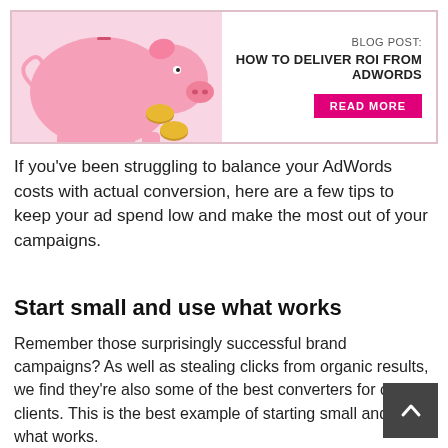[Figure (illustration): Blog post banner with a pink piggy bank and coins on the left. Right side shows text: BLOG POST: HOW TO DELIVER ROI FROM ADWORDS, with a pink READ MORE button.]
If you've been struggling to balance your AdWords costs with actual conversion, here are a few tips to keep your ad spend low and make the most out of your campaigns.
Start small and use what works
Remember those surprisingly successful brand campaigns? As well as stealing clicks from organic results, we find they're also some of the best converters for our clients. This is the best example of starting small and using what works.
As well as using your brand, delve into your ecommerce data and look at your best sellers. Anything that sells consistently all year round is your PPC bread and butter. Products that are already attracting customers are probably going to attract clicks and conversions in AdWords too. If you have a small budget, this is the